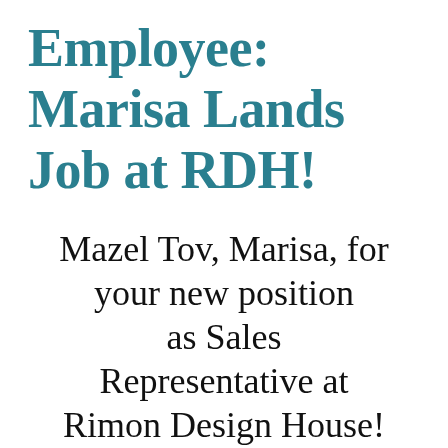Employee: Marisa Lands Job at RDH!
Mazel Tov, Marisa, for your new position as Sales Representative at Rimon Design House!